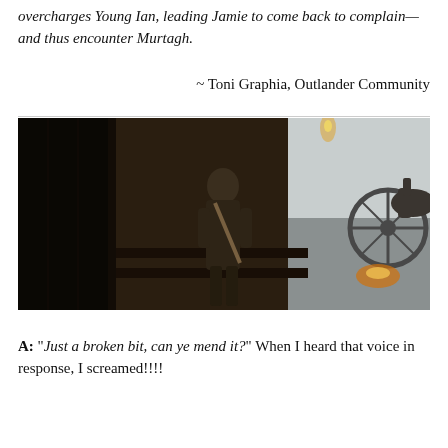overcharges Young Ian, leading Jamie to come back to complain—and thus encounter Murtagh.
~ Toni Graphia, Outlander Community
[Figure (photo): Dark scene from what appears to be the TV show Outlander: a young man in period costume with a satchel stands in a barn doorway; a horse and wagon are visible in the background with a fire/torchlight.]
A: "Just a broken bit, can ye mend it?" When I heard that voice in response, I screamed!!!!